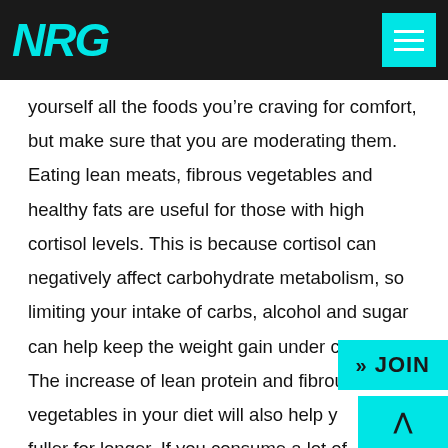NRG
yourself all the foods you’re craving for comfort, but make sure that you are moderating them. Eating lean meats, fibrous vegetables and healthy fats are useful for those with high cortisol levels. This is because cortisol can negatively affect carbohydrate metabolism, so limiting your intake of carbs, alcohol and sugar can help keep the weight gain under control. The increase of lean protein and fibrous vegetables in your diet will also help you fuller for longer. If you consume a lot of caffeine, this can stress out your adrenal gland